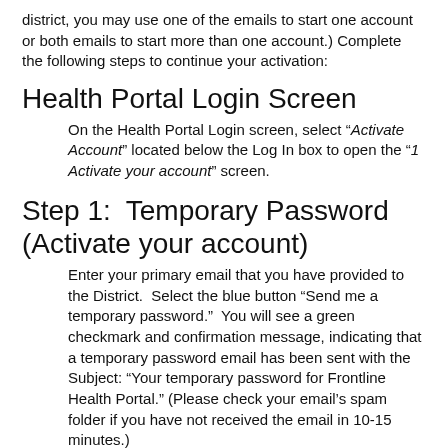district, you may use one of the emails to start one account or both emails to start more than one account.) Complete the following steps to continue your activation:
Health Portal Login Screen
On the Health Portal Login screen, select “Activate Account” located below the Log In box to open the “1 Activate your account” screen.
Step 1:  Temporary Password (Activate your account)
Enter your primary email that you have provided to the District.  Select the blue button “Send me a temporary password.”  You will see a green checkmark and confirmation message, indicating that a temporary password email has been sent with the Subject: “Your temporary password for Frontline Health Portal.” (Please check your email’s spam folder if you have not received the email in 10-15 minutes.)